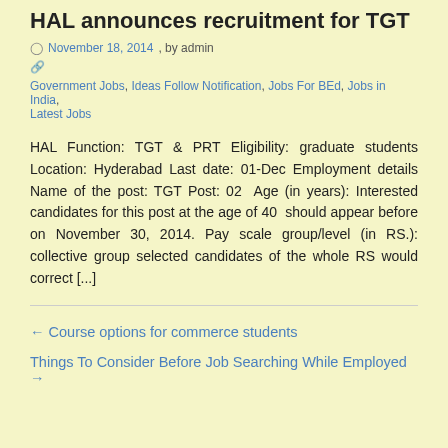HAL announces recruitment for TGT
November 18, 2014 , by admin
Government Jobs, Ideas Follow Notification, Jobs For BEd, Jobs in India, Latest Jobs
HAL Function: TGT & PRT Eligibility: graduate students Location: Hyderabad Last date: 01-Dec Employment details Name of the post: TGT Post: 02  Age (in years): Interested candidates for this post at the age of 40  should appear before on November 30, 2014. Pay scale group/level (in RS.): collective group selected candidates of the whole RS would correct [...]
← Course options for commerce students
Things To Consider Before Job Searching While Employed →